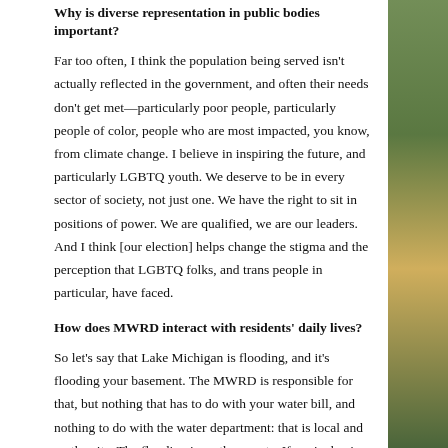Why is diverse representation in public bodies important?
Far too often, I think the population being served isn't actually reflected in the government, and often their needs don't get met—particularly poor people, particularly people of color, people who are most impacted, you know, from climate change. I believe in inspiring the future, and particularly LGBTQ youth. We deserve to be in every sector of society, not just one. We have the right to sit in positions of power. We are qualified, we are our leaders. And I think [our election] helps change the stigma and the perception that LGBTQ folks, and trans people in particular, have faced.
How does MWRD interact with residents' daily lives?
So let's say that Lake Michigan is flooding, and it's flooding your basement. The MWRD is responsible for that, but nothing that has to do with your water bill, and nothing to do with the water department: that is local and on the city. The flooding is on the county. If you're having issues with stormwater around your home